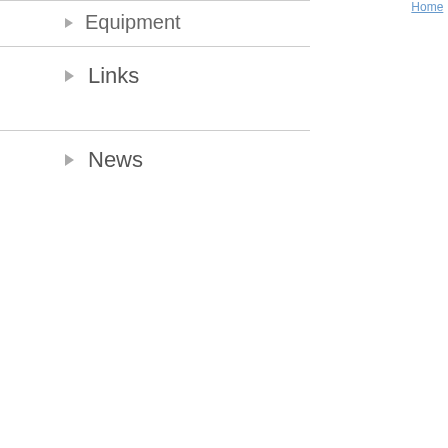Equipment
Links
News
Polic
General
The Molecular most of the la Note, some of responsible fo properly clear problems plea
Protein
The use of re Fqui E